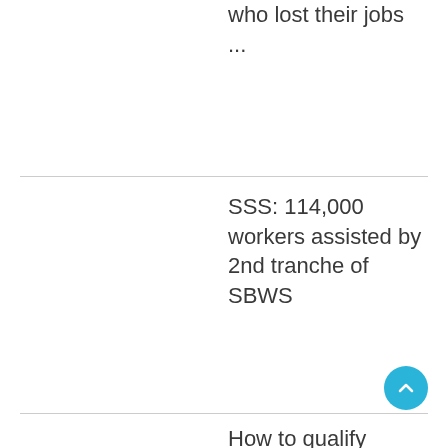who lost their jobs ...
SSS: 114,000 workers assisted by 2nd tranche of SBWS
How to qualify